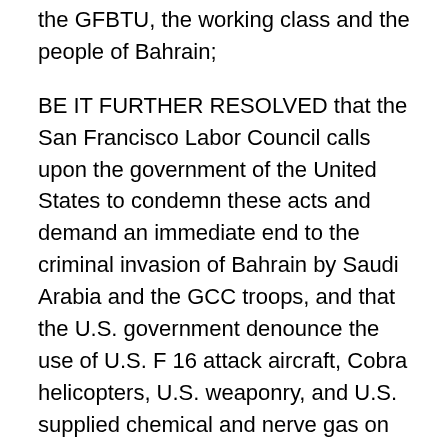the GFBTU, the working class and the people of Bahrain;
BE IT FURTHER RESOLVED that the San Francisco Labor Council calls upon the government of the United States to condemn these acts and demand an immediate end to the criminal invasion of Bahrain by Saudi Arabia and the GCC troops, and that the U.S. government denounce the use of U.S. F 16 attack aircraft, Cobra helicopters, U.S. weaponry, and U.S. supplied chemical and nerve gas on civilians and villages throughout Bahrain;
BE IT FURTHER RESOLVED that the San Francisco Labor Council joins Human Rights officials and activists from many countries in calling for an international investigation and adjudication of crimes against humanity committed by foreign and domestic forces of repression,